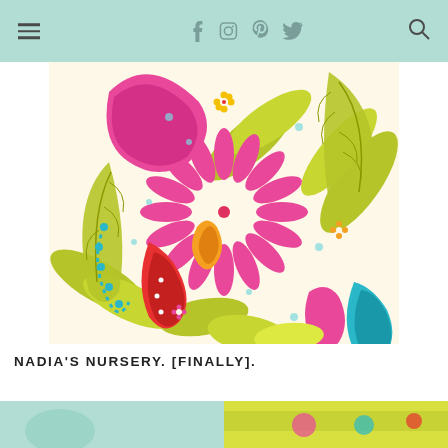Navigation bar with hamburger menu, social icons (Facebook, Instagram, Pinterest, Twitter), and search icon
[Figure (illustration): Colorful paisley and floral pattern fabric/textile print with bright pink, yellow-green, teal, and red motifs including a large central sunflower-like bloom, paisley teardrops, and tropical leaves on a cream background]
NADIA'S NURSERY. [FINALLY].
[Figure (photo): Bottom strip showing partial images — a teal/mint background section on left and a colorful photo on right, cropped]